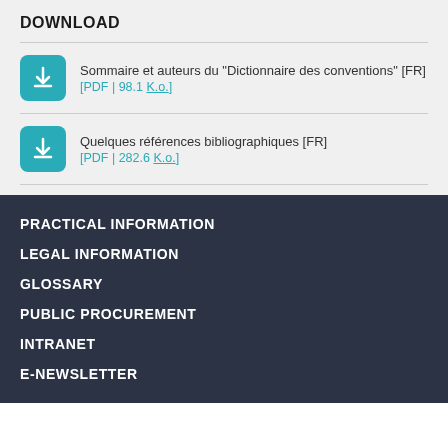DOWNLOAD
Sommaire et auteurs du "Dictionnaire des conventions" [FR]
[PDF | 98.1 K.o.]
Quelques références bibliographiques [FR]
[PDF | 282.6 K.o.]
PRACTICAL INFORMATION
LEGAL INFORMATION
GLOSSARY
PUBLIC PROCUREMENT
INTRANET
E-NEWSLETTER